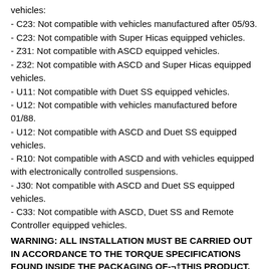vehicles:
- C23: Not compatible with vehicles manufactured after 05/93.
- C23: Not compatible with Super Hicas equipped vehicles.
- Z31: Not compatible with ASCD equipped vehicles.
- Z32: Not compatible with ASCD and Super Hicas equipped vehicles.
- U11: Not compatible with Duet SS equipped vehicles.
- U12: Not compatible with vehicles manufactured before 01/88.
- U12: Not compatible with ASCD and Duet SS equipped vehicles.
- R10: Not compatible with ASCD and with vehicles equipped with electronically controlled suspensions.
- J30: Not compatible with ASCD and Duet SS equipped vehicles.
- C33: Not compatible with ASCD, Duet SS and Remote Controller equipped vehicles.
WARNING: ALL INSTALLATION MUST BE CARRIED OUT IN ACCORDANCE TO THE TORQUE SPECIFICATIONS FOUND INSIDE THE PACKAGING OF-¬tTHIS PRODUCT. ANY DAMAGE RESULTING FROM DEVIATION WILL NOT BE COVERED BY RACEHUB NZ. PLEASE REFER TO A PROFESSIONAL TECHNICIAN IF YOU DO